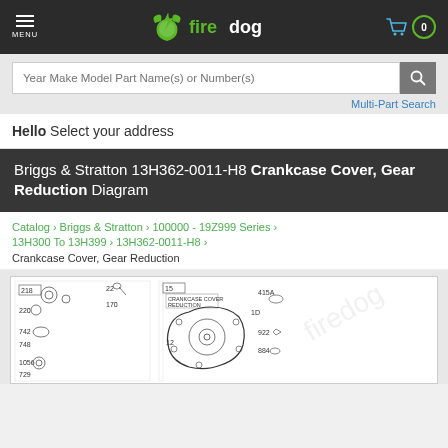firedog — MENU | Cart: 0
Year Make Model Part Name(s) or Number(s)
Multi-Part Search
Hello Select your address
Briggs & Stratton 13H362-0011-H8 Crankcase Cover, Gear Reduction Diagram
Catalog › Briggs & Stratton › 100000 - 19Z999 Series › 13H300 To 13H399 › 13H362-0011-H8 › Crankcase Cover, Gear Reduction
[Figure (engineering-diagram): Parts diagram for Briggs & Stratton 13H362-0011-H8 Crankcase Cover, Gear Reduction. Shows exploded view of gear reduction cover assembly with numbered parts including 218, 220, 742, 748, 1056, 729, 22, 170, 12, 415A, 922, 884 and other components.]